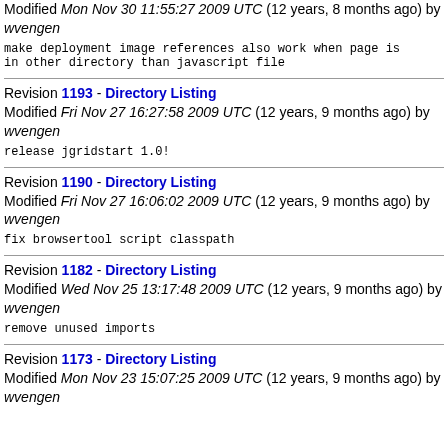Modified Mon Nov 30 11:55:27 2009 UTC (12 years, 8 months ago) by wvengen
make deployment image references also work when page is in other directory than javascript file
Revision 1193 - Directory Listing
Modified Fri Nov 27 16:27:58 2009 UTC (12 years, 9 months ago) by wvengen
release jgridstart 1.0!
Revision 1190 - Directory Listing
Modified Fri Nov 27 16:06:02 2009 UTC (12 years, 9 months ago) by wvengen
fix browsertool script classpath
Revision 1182 - Directory Listing
Modified Wed Nov 25 13:17:48 2009 UTC (12 years, 9 months ago) by wvengen
remove unused imports
Revision 1173 - Directory Listing
Modified Mon Nov 23 15:07:25 2009 UTC (12 years, 9 months ago) by wvengen